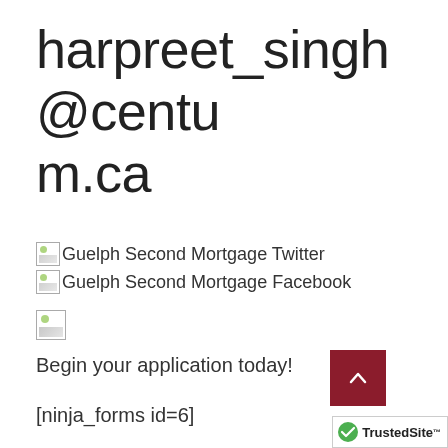harpreet_singh@centum.ca
[Figure (illustration): Broken image placeholder for Guelph Second Mortgage Twitter social icon with text label]
[Figure (illustration): Broken image placeholder for Guelph Second Mortgage Facebook social icon with text label]
[Figure (illustration): Small broken image placeholder]
Begin your application today!
[ninja_forms id=6]
Your Information is 100% Secure And Will Never Be Shared With Anyone.
[Figure (illustration): Broken image placeholder with partial text Harpreet Singh]
[Figure (logo): TrustedSite badge in bottom right corner]